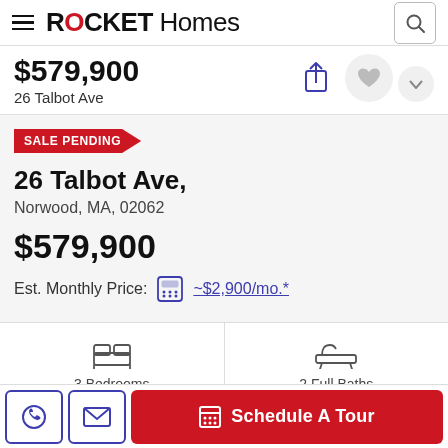ROCKET Homes
$579,900
26 Talbot Ave
SALE PENDING
26 Talbot Ave,
Norwood, MA, 02062
$579,900
Est. Monthly Price: ~$2,900/mo.*
3 Bedrooms
2 Full Baths
Schedule A Tour